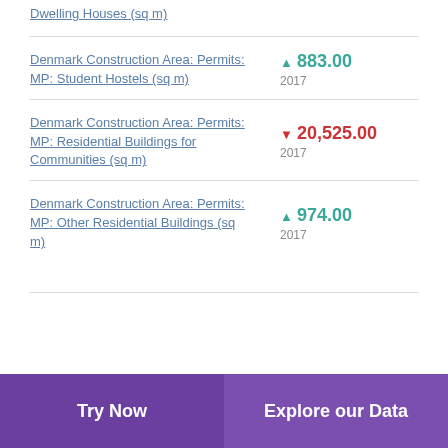Dwelling Houses (sq m)
Denmark Construction Area: Permits: MP: Student Hostels (sq m) ▲ 883.00 2017
Denmark Construction Area: Permits: MP: Residential Buildings for Communities (sq m) ▼ 20,525.00 2017
Denmark Construction Area: Permits: MP: Other Residential Buildings (sq m) ▲ 974.00 2017
Try Now   Explore our Data